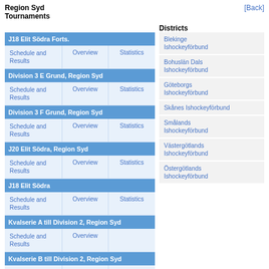Region Syd
Tournaments
Districts
| Tournament | Links |
| --- | --- |
| J18 Elit Södra Forts. |  |
| Schedule and Results | Overview | Statistics |
| Division 3 E Grund, Region Syd |  |
| Schedule and Results | Overview | Statistics |
| Division 3 F Grund, Region Syd |  |
| Schedule and Results | Overview | Statistics |
| J20 Elit Södra, Region Syd |  |
| Schedule and Results | Overview | Statistics |
| J18 Elit Södra |  |
| Schedule and Results | Overview | Statistics |
| Kvalserie A till Division 2, Region Syd |  |
| Schedule and Results | Overview |  |
| Kvalserie B till Division 2, Region Syd |  |
| Schedule and Results | Overview |  |
| Kvalserie C till Division 2, Region Syd |  |
| Schedule and |  |  |
Blekinge Ishockeyförbund
Bohuslän Dals Ishockeyförbund
Göteborgs Ishockeyförbund
Skånes Ishockeyförbund
Smålands Ishockeyförbund
Västergötlands Ishockeyförbund
Östergötlands Ishockeyförbund